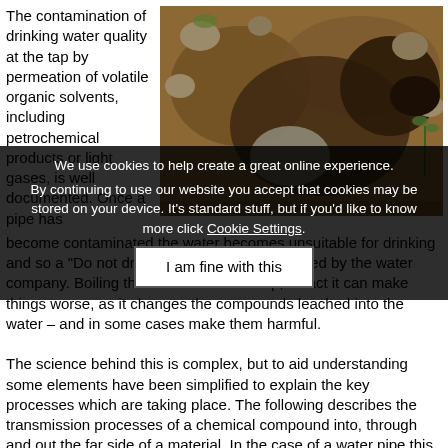The contamination of drinking water quality at the tap by permeation of volatile organic solvents, including petrochemical products or light gases, is well documented. Once a pipe has become contaminated the water becomes unsuitable for drinking and so a “Do not drink” notice is normally issued by the water company. Boiling the water does not help, in fact it can make things worse, as it changes the compounds leached into the water – and in some cases make them harmful.
[Figure (photo): Excavated soil and dirt pit with a water pipe visible, showing contamination site investigation]
The science behind this is complex, but to aid understanding some elements have been simplified to explain the key processes which are taking place. The following describes the transmission processes of a chemical compound into, through and out the far side of a material. In the case of a water pipe this is through the wall and in to the water within it.
We use cookies to help create a great online experience. By continuing to use our website you accept that cookies may be stored on your device. It’s standard stuff, but if you’d like to know more click Cookie Settings.
I am fine with this